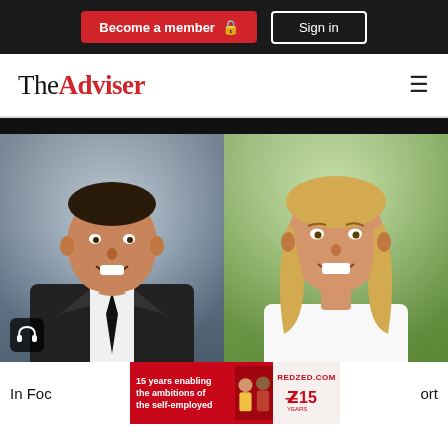Become a member  Sign in
[Figure (logo): The Adviser logo with hamburger menu icon]
[Figure (photo): Two professional headshots side by side: a man in a dark suit and tie on the left, a blonde woman in a white top on the right. A headphone icon is visible in the bottom-left of the left photo.]
In Foc... ort
WATC...
[Figure (other): RedZed advertisement banner: '15 years enabling the ambitions of the self-employed' with people images and REDZED.COM logo with 15 years badge]